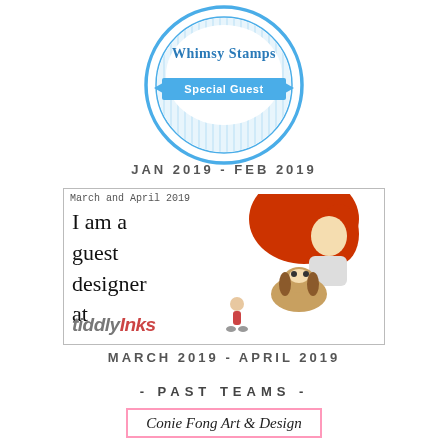[Figure (logo): Whimsy Stamps Special Guest badge/seal with circular blue border and ribbon banner]
JAN 2019 - FEB 2019
[Figure (logo): TiddlyInks guest designer badge for March and April 2019 featuring illustrated girl with red hair and a beagle dog, text reads 'I am a guest designer at TiddlyInks']
MARCH 2019 - APRIL 2019
- PAST TEAMS -
[Figure (logo): Conie Fong Art & Design badge with pink border and sunflower illustration]